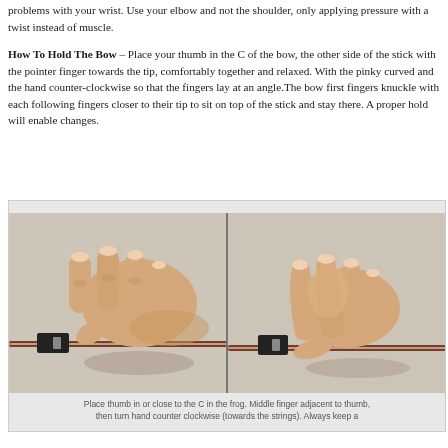problems with your wrist. Use your elbow and not the shoulder, only applying pressure with a twist instead of muscle.
How To Hold The Bow – Place your thumb in the C of the bow, the other side of the stick with the pointer finger towards the tip, comfortably together and relaxed. With the pinky curved and the hand counter-clockwise so that the fingers lay at an angle.The bow first fingers knuckle with each following fingers closer to their tip to sit on top of the stick and stay there. A proper hold will enable changes.
[Figure (photo): Two side-by-side photos of a hand holding a violin bow at the frog, demonstrating proper bow hold technique from different angles.]
Place thumb in or close to the C in the frog. Middle finger adjacent to thumb, then turn hand counter clockwise (towards the strings). Always keep a